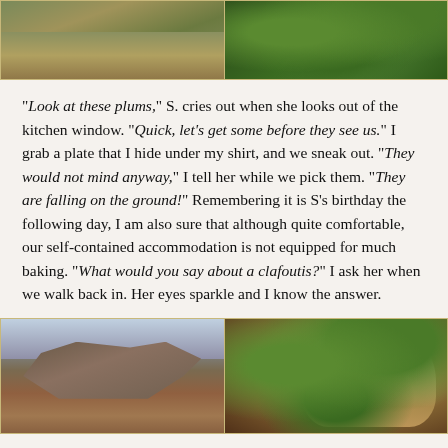[Figure (photo): Two photos side by side at the top: left shows dry grass and ground, right shows green leafy foliage/plum tree]
“Look at these plums,” S. cries out when she looks out of the kitchen window. “Quick, let’s get some before they see us.” I grab a plate that I hide under my shirt, and we sneak out. “They would not mind anyway,” I tell her while we pick them. “They are falling on the ground!” Remembering it is S’s birthday the following day, I am also sure that although quite comfortable, our self-contained accommodation is not equipped for much baking. “What would you say about a clafoutis?” I ask her when we walk back in. Her eyes sparkle and I know the answer.
[Figure (photo): Two photos side by side at the bottom: left shows a mountain landscape with rugged peaks, right shows a glass of white wine with bokeh background]